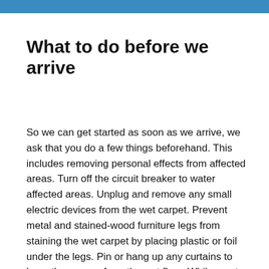What to do before we arrive
So we can get started as soon as we arrive, we ask that you do a few things beforehand. This includes removing personal effects from affected areas. Turn off the circuit breaker to water affected areas. Unplug and remove any small electric devices from the wet carpet. Prevent metal and stained-wood furniture legs from staining the wet carpet by placing plastic or foil under the legs. Pin or hang up any curtains to keep them away from the wet floor. While most people take